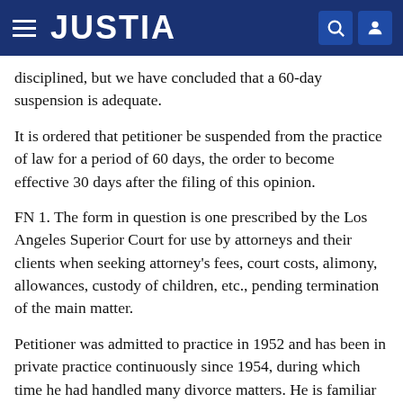JUSTIA
disciplined, but we have concluded that a 60-day suspension is adequate.
It is ordered that petitioner be suspended from the practice of law for a period of 60 days, the order to become effective 30 days after the filing of this opinion.
FN 1. The form in question is one prescribed by the Los Angeles Superior Court for use by attorneys and their clients when seeking attorney's fees, court costs, alimony, allowances, custody of children, etc., pending termination of the main matter.
Petitioner was admitted to practice in 1952 and has been in private practice continuously since 1954, during which time he had handled many divorce matters. He is familiar with the form and has used it frequently.